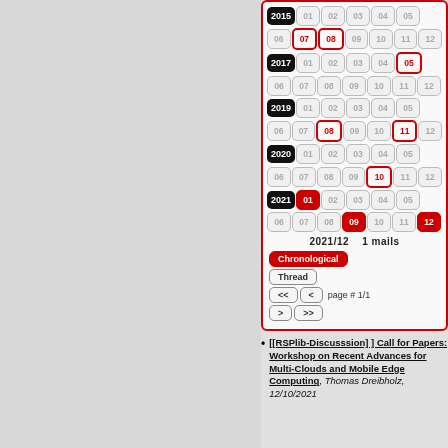[Figure (screenshot): A mailing list archive calendar navigation widget showing years 2015, 2017, 2019, 2020, 2021 with months as clickable buttons. Some months highlighted in red border or filled red. Shows 2021/12 with 1 mail. Navigation buttons: Chronological, Thread, <<, <, >, >>. Page # 1/1.]
[[RSPlib-Discusssion] ] Call for Papers: Workshop on Recent Advances for Multi-Clouds and Mobile Edge Computing, Thomas Dreibholz, 12/10/2021